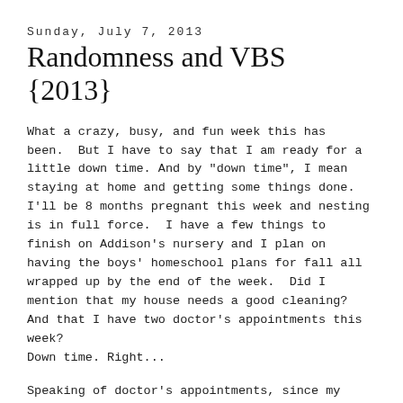Sunday, July 7, 2013
Randomness and VBS {2013}
What a crazy, busy, and fun week this has been.  But I have to say that I am ready for a little down time. And by "down time", I mean staying at home and getting some things done.  I'll be 8 months pregnant this week and nesting is in full force.  I have a few things to finish on Addison's nursery and I plan on having the boys' homeschool plans for fall all wrapped up by the end of the week.  Did I mention that my house needs a good cleaning? And that I have two doctor's appointments this week?
Down time. Right...
Speaking of doctor's appointments, since my last baby update, I have been diagnosed with gestational diabetes.  I met with a dietician this past week and since cutting out almost all carbs/sugar, I cannot tell you how much better I feel.  I'm no longer feeling sluggish, fatigued, dizzy or shaky.  I have even lost 4 lbs. in 5 days.  My dietician told me that